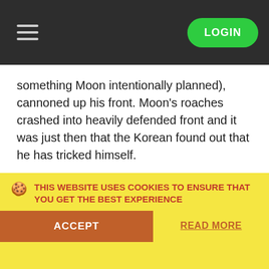LOGIN
something Moon intentionally planned), cannoned up his front. Moon's roaches crashed into heavily defended front and it was just then that the Korean found out that he has tricked himself.
On Tal'Darim Altar, Moon went for a meta-game 6-pool in attempt to deny the FFE of HuK but unfortunately for him, the Canadian scouted that right away and successfully walled his front to deny both the initial ling attack and the weak roach follow-up.
Thus, HuK swept the DHS champion title along with the 100,000 SEK that go along with it.
DreamHack Summer 2011 final standings
THIS WEBSITE USES COOKIES TO ENSURE THAT YOU GET THE BEST EXPERIENCE
ACCEPT
READ MORE